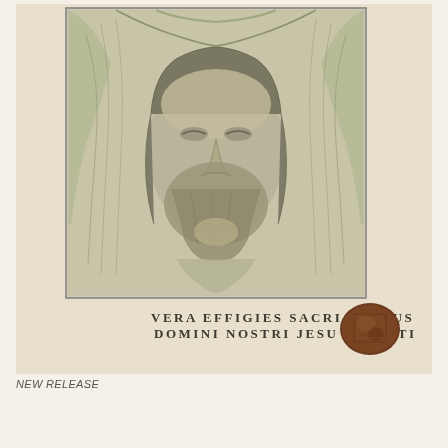[Figure (illustration): Aged sepia-toned illustration on parchment-colored background depicting the Holy Face (Vera Icon / Veil of Veronica) — a bearded male face with long hair framed by a draped cloth held at the top corners, printed in greenish-gray tones. Below the image, text reads: VERA EFFIGIES SACRI VULTUS / DOMINI NOSTRI JESU CHRISTI. A dark brown wax seal is visible at the lower right of the illustration.]
NEW RELEASE